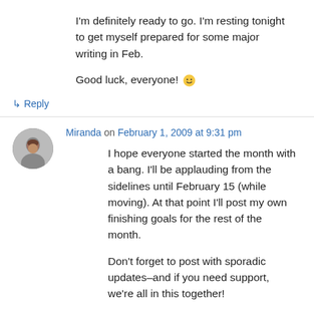I'm definitely ready to go. I'm resting tonight to get myself prepared for some major writing in Feb.

Good luck, everyone! 🙂
↳ Reply
Miranda on February 1, 2009 at 9:31 pm
I hope everyone started the month with a bang. I'll be applauding from the sidelines until February 15 (while moving). At that point I'll post my own finishing goals for the rest of the month.

Don't forget to post with sporadic updates–and if you need support, we're all in this together!